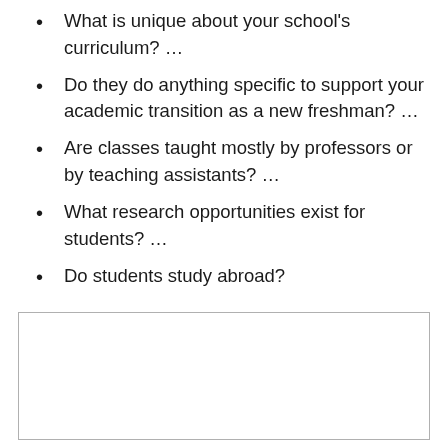What is unique about your school's curriculum? ...
Do they do anything specific to support your academic transition as a new freshman? ...
Are classes taught mostly by professors or by teaching assistants? ...
What research opportunities exist for students? ...
Do students study abroad?